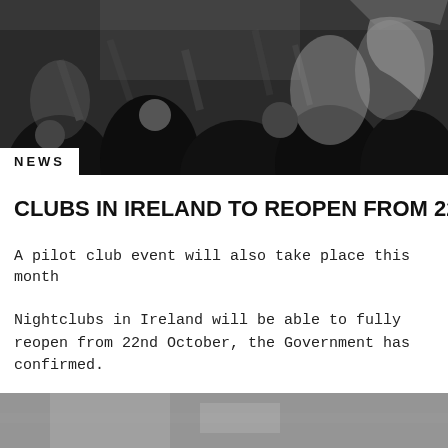[Figure (photo): Black and white crowd photo of people at a nightclub, arms raised, dancing]
NEWS
CLUBS IN IRELAND TO REOPEN FROM 22ND OCTOBER
A pilot club event will also take place this month
Nightclubs in Ireland will be able to fully reopen from 22nd October, the Government has confirmed.
A four-stage reopening plan has been approved by the...
[Figure (photo): Partial black and white photo at the bottom of the page, appears to show a surface or floor]